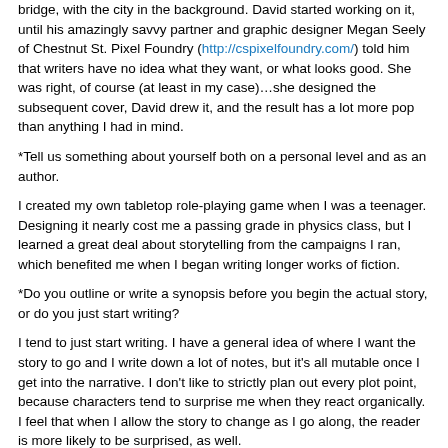bridge, with the city in the background. David started working on it, until his amazingly savvy partner and graphic designer Megan Seely of Chestnut St. Pixel Foundry (http://cspixelfoundry.com/) told him that writers have no idea what they want, or what looks good. She was right, of course (at least in my case)…she designed the subsequent cover, David drew it, and the result has a lot more pop than anything I had in mind.
*Tell us something about yourself both on a personal level and as an author.
I created my own tabletop role-playing game when I was a teenager. Designing it nearly cost me a passing grade in physics class, but I learned a great deal about storytelling from the campaigns I ran, which benefited me when I began writing longer works of fiction.
*Do you outline or write a synopsis before you begin the actual story, or do you just start writing?
I tend to just start writing. I have a general idea of where I want the story to go and I write down a lot of notes, but it's all mutable once I get into the narrative. I don't like to strictly plan out every plot point, because characters tend to surprise me when they react organically. I feel that when I allow the story to change as I go along, the reader is more likely to be surprised, as well.
*Please tell us about any current projects you are working on.
Currently I'm working on the sequel to Crystal Promise, which continues